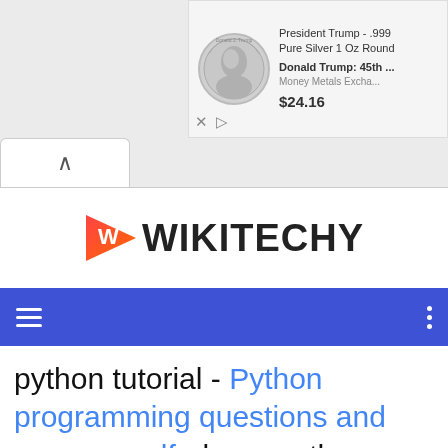[Figure (screenshot): Advertisement banner showing a silver coin with President Trump, text 'President Trump - .999 Pure Silver 1 Oz Round', 'Donald Trump: 45th ...', 'Money Metals Excha...', price '$24.16']
[Figure (logo): Wikitechy logo with red/orange play-button W icon and bold black text WIKITECHY]
[Figure (screenshot): Blue navigation bar with hamburger menu icon on left and vertical three-dot menu on right]
python tutorial - Python programming questions and answers pdf - learn python - python programming